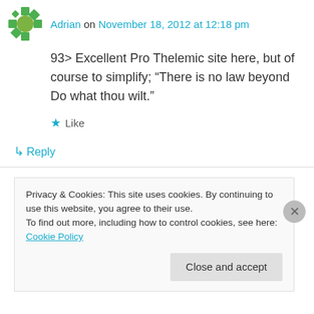Adrian on November 18, 2012 at 12:18 pm
93> Excellent Pro Thelemic site here, but of course to simplify; “There is no law beyond Do what thou wilt.”
Like
Reply
lakbs on January 8, 2013 at 6:50 am
if the main idea of this idea is do what you will,
Privacy & Cookies: This site uses cookies. By continuing to use this website, you agree to their use.
To find out more, including how to control cookies, see here: Cookie Policy
Close and accept